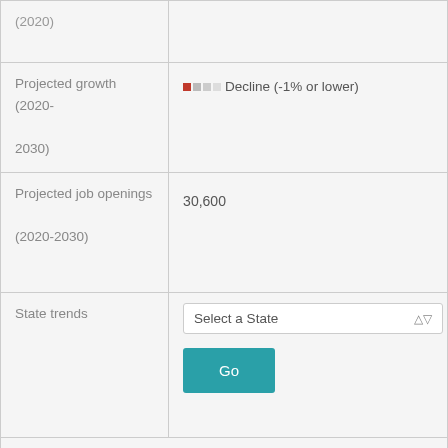| Label | Value |
| --- | --- |
| (2020) |  |
| Projected growth (2020-2030) | Decline (-1% or lower) |
| Projected job openings (2020-2030) | 30,600 |
| State trends | Select a State / Go |
|  |  |
| Top industries | Wholesale Trade |